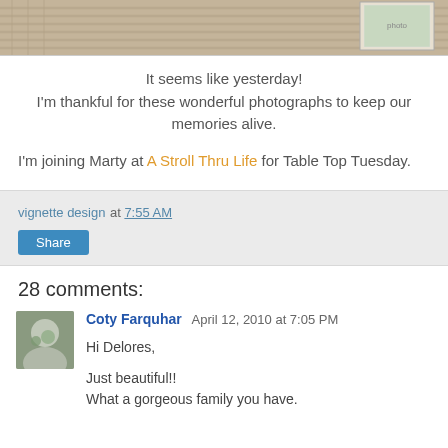[Figure (photo): Partial photo showing burlap/textured fabric background with a small framed picture at top]
It seems like yesterday!
I'm thankful for these wonderful photographs to keep our memories alive.
I'm joining Marty at A Stroll Thru Life for Table Top Tuesday.
vignette design at 7:55 AM
Share
28 comments:
Coty Farquhar April 12, 2010 at 7:05 PM
Hi Delores,

Just beautiful!!
What a gorgeous family you have.